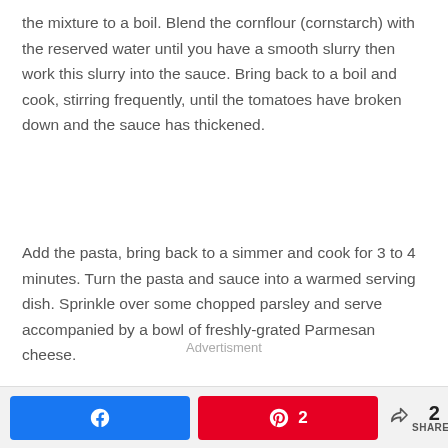the mixture to a boil. Blend the cornflour (cornstarch) with the reserved water until you have a smooth slurry then work this slurry into the sauce. Bring back to a boil and cook, stirring frequently, until the tomatoes have broken down and the sauce has thickened.
Add the pasta, bring back to a simmer and cook for 3 to 4 minutes. Turn the pasta and sauce into a warmed serving dish. Sprinkle over some chopped parsley and serve accompanied by a bowl of freshly-grated Parmesan cheese.
Advertisment
Facebook share | Pinterest 2 shares | < 2 SHARES